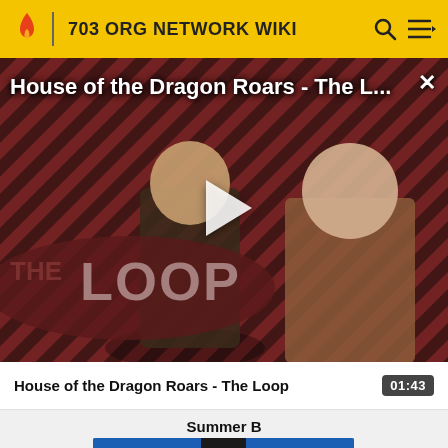703 ORG NETWORK WIKI
[Figure (screenshot): Video thumbnail for 'House of the Dragon Roars - The Loop' showing two characters from House of the Dragon TV show on a diagonal striped red/black background with 'THE LOOP' text overlay and a play button in the center. Title overlay reads 'House of the Dragon Roars - The L...' with an X close button.]
House of the Dragon Roars - The Loop
01:43
Summer B
[Figure (illustration): Partial thumbnail image showing a cartoon/illustrated character wearing blue and black outfit, cropped at bottom of page.]